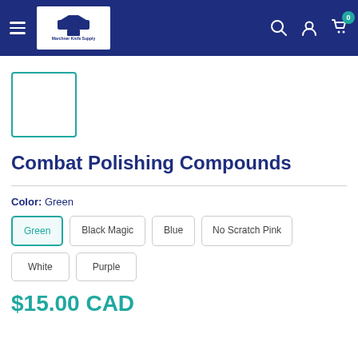Marchner Knife Supply navigation bar
[Figure (logo): Marchner Knife Supply logo with anvil icon in white box on dark blue navigation bar]
[Figure (photo): Small product thumbnail image with teal border, showing Combat Polishing Compound]
Combat Polishing Compounds
Color: Green
Green (selected)
Black Magic
Blue
No Scratch Pink
White
Purple
$15.00 CAD (partially visible)